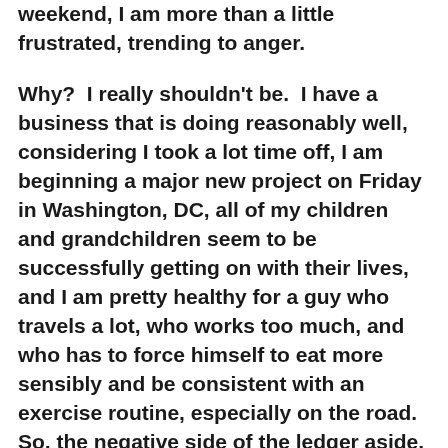weekend, I am more than a little frustrated, trending to anger.
Why?  I really shouldn't be.  I have a business that is doing reasonably well, considering I took a lot time off, I am beginning a major new project on Friday in Washington, DC, all of my children and grandchildren seem to be successfully getting on with their lives, and I am pretty healthy for a guy who travels a lot, who works too much, and who has to force himself to eat more sensibly and be consistent with an exercise routine, especially on the road.  So, the negative side of the ledger aside, life is good.  As I watch friends struggle with failure, addiction or a disease that takes their life prematurely, I gratefully count my many blessings.